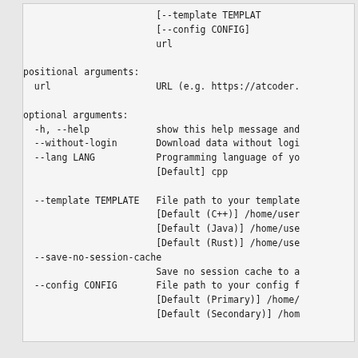[--template TEMPLATE] [--config CONFIG] url

positional arguments:
  url                   URL (e.g. https://atcoder.

optional arguments:
  -h, --help            show this help message and
  --without-login       Download data without logi
  --lang LANG           Programming language of yo
                        [Default] cpp

  --template TEMPLATE   File path to your template
                        [Default (C++)] /home/user
                        [Default (Java)] /home/use
                        [Default (Rust)] /home/use
  --save-no-session-cache
                        Save no session cache to a
  --config CONFIG       File path to your config f
                        [Default (Primary)] /home/
                        [Default (Secondary)] /hom